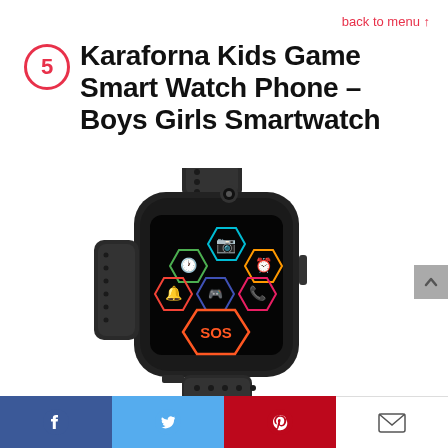back to menu ↑
5 Karaforna Kids Game Smart Watch Phone – Boys Girls Smartwatch
[Figure (photo): Black kids smartwatch displayed at an angle, with a dark touchscreen showing colorful neon hexagonal app icons including camera, clock, alarm, game controller, phone, bell/notification, and SOS button. The watch has a black rubber sport band with holes.]
Facebook | Twitter | Pinterest | Email